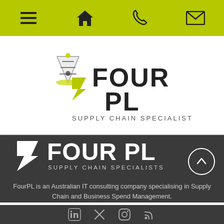[Figure (screenshot): Navigation bar with hamburger menu, home, phone, and email icons on a yellow-green background]
[Figure (logo): FourPL logo with party hat, lightning bolt chevron symbol in yellow-green, text FOUR PL, tagline SUPPLY CHAIN SPECIALISTS]
[Figure (logo): FourPL white logo on dark background with lightning bolt chevron, text FOUR PL and SUPPLY CHAIN SPECIALISTS in white]
FourPL is an Australian IT consulting company specialising in Supply Chain and Business Spend Management.
[Figure (screenshot): Social media icons row at the bottom: LinkedIn, Twitter/X, Instagram, RSS feed]